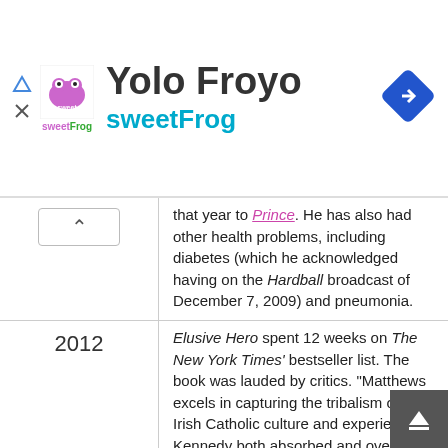[Figure (logo): sweetFrog advertisement banner with logo, 'Yolo Froyo' title, 'sweetFrog' subtitle, and navigation arrow icon]
that year to Prince. He has also had other health problems, including diabetes (which he acknowledged having on the Hardball broadcast of December 7, 2009) and pneumonia.
2012
Elusive Hero spent 12 weeks on The New York Times' bestseller list. The book was lauded by critics. "Matthews excels in capturing the tribalism of the Irish Catholic culture and experience Kennedy both absorbed and overcame as he made his way...[and] is at his best in describing political dynamics," The Washington Post said. "Matthews proves a compelling storyteller," said The Boston Globe. "Matthews has produced a valuable addition to the literature about the life and career of our 35th President," said The Christian Science Monitor. "Matthews's stirring biography reveals Kennedy as a 'fighting Prince never free from pain, never far from trouble, and never accepting the